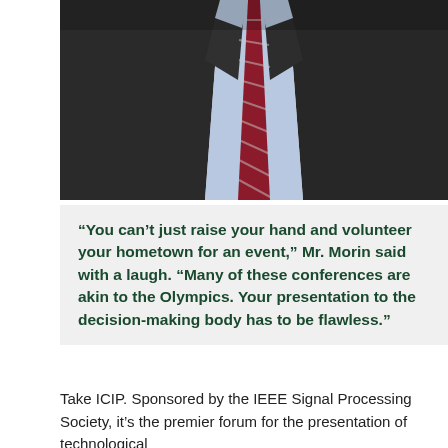[Figure (photo): Photo of a man in a dark suit with a red striped tie and light blue shirt, cropped from chest up, no face visible]
“You can’t just raise your hand and volunteer your hometown for an event,” Mr. Morin said with a laugh. “Many of these conferences are akin to the Olympics. Your presentation to the decision-making body has to be flawless.”
Take ICIP. Sponsored by the IEEE Signal Processing Society, it’s the premier forum for the presentation of technological